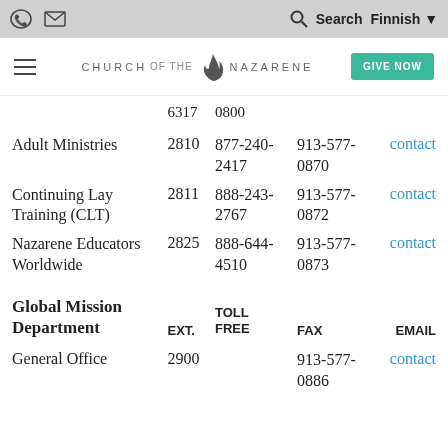Church of the Nazarene — Navigation bar with Search and Finnish language selector
| Department | EXT. | TOLL FREE | FAX | EMAIL |
| --- | --- | --- | --- | --- |
|  | 6317 | 0800 |  |  |
| Adult Ministries | 2810 | 877-240-2417 | 913-577-0870 | contact |
| Continuing Lay Training (CLT) | 2811 | 888-243-2767 | 913-577-0872 | contact |
| Nazarene Educators Worldwide | 2825 | 888-644-4510 | 913-577-0873 | contact |
| Global Mission Department |  |  |  |  |
| General Office | 2900 |  | 913-577-0886 | contact |